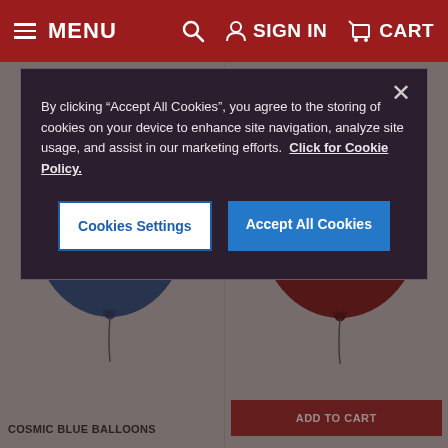MENU  🔍  SIGN IN  🛒 CART
[Figure (screenshot): Cookie consent modal dialog with dark background. Text: 'By clicking "Accept All Cookies", you agree to the storing of cookies on your device to enhance site navigation, analyze site usage, and assist in our marketing efforts. Click for Cookie Policy.' Two buttons: 'Cookies Settings' (white with blue border) and 'Accept All Cookies' (blue). Close X button in top right.]
By clicking "Accept All Cookies", you agree to the storing of cookies on your device to enhance site navigation, analyze site usage, and assist in our marketing efforts.  Click for Cookie Policy.
Cookies Settings
Accept All Cookies
Out of stock
[Figure (photo): Blue balloon (Cosmic Blue) - out of stock]
[Figure (photo): Dark red/maroon balloon]
COSMIC BLUE BALLOONS
ADD TO CART